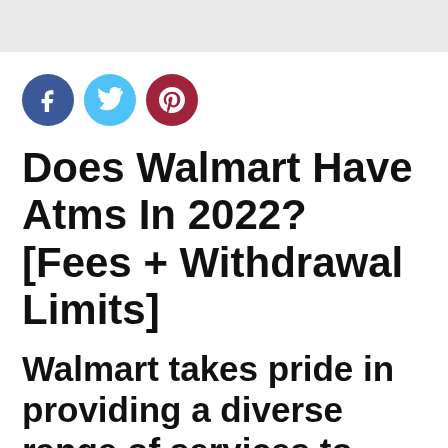[Figure (other): Gray header bar at top of page]
[Figure (other): Social media sharing icons: Facebook (blue circle with f), Twitter (light blue circle with bird), Pinterest (dark red circle with p)]
Does Walmart Have Atms In 2022? [Fees + Withdrawal Limits]
Walmart takes pride in providing a diverse range of services to millions of